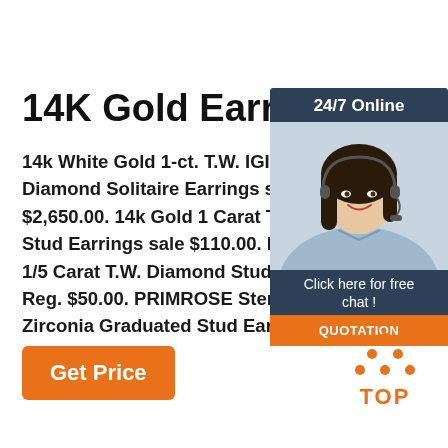14K Gold Earrings
14k White Gold 1-ct. T.W. IGI Certified R Diamond Solitaire Earrings sale $1,060. $2,650.00. 14k Gold 1 Carat T.W. Diamo Stud Earrings sale $110.00. Reg. $275. 1/5 Carat T.W. Diamond Stud Earrings s Reg. $50.00. PRIMROSE Sterling Silve Zirconia Graduated Stud Earring Set ...
[Figure (infographic): Customer service widget with dark blue background showing '24/7 Online' header, a woman with headset smiling, 'Click here for free chat!' text and orange QUOTATION button]
Get Price
[Figure (logo): TOP badge logo with orange dots forming a triangle above the word TOP in orange]